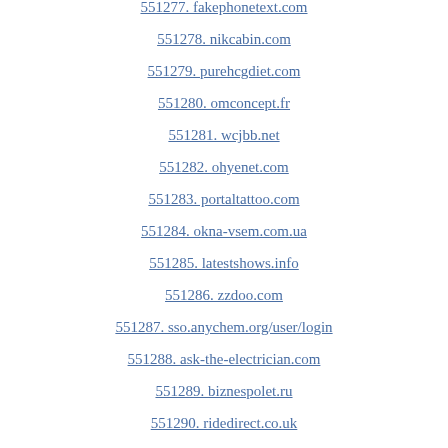551277. fakephonetext.com
551278. nikcabin.com
551279. purehcgdiet.com
551280. omconcept.fr
551281. wcjbb.net
551282. ohyenet.com
551283. portaltattoo.com
551284. okna-vsem.com.ua
551285. latestshows.info
551286. zzdoo.com
551287. sso.anychem.org/user/login
551288. ask-the-electrician.com
551289. biznespolet.ru
551290. ridedirect.co.uk
551291. arquitecturaalasarta.com